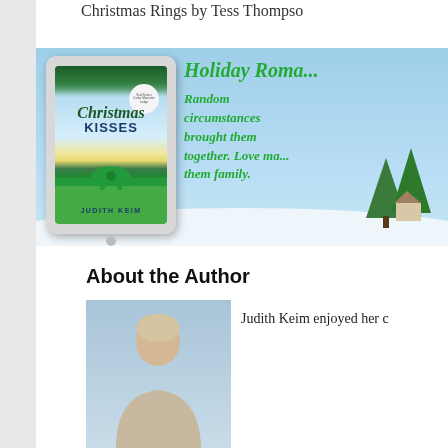Christmas Rings by Tess Thompso
[Figure (illustration): Book banner for 'Christmas Kisses' by Judith Keim showing a tablet device with the book cover against a snowy winter background with pine trees. Green script text reads 'Holiday Roma...' and 'Random circumstances brought them together. Love ma... them family.']
About the Author
[Figure (photo): Partial author photo of Judith Keim]
Judith Keim enjoyed her c